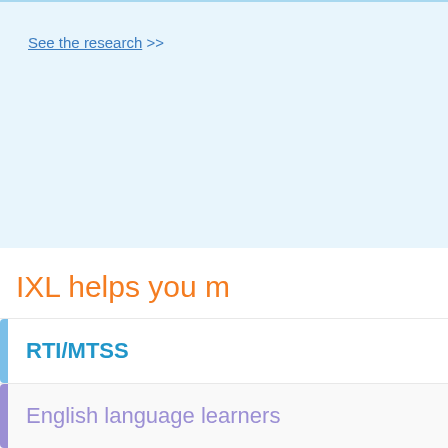See the research >>
IXL helps you m
RTI/MTSS
English language learners
Get a quot